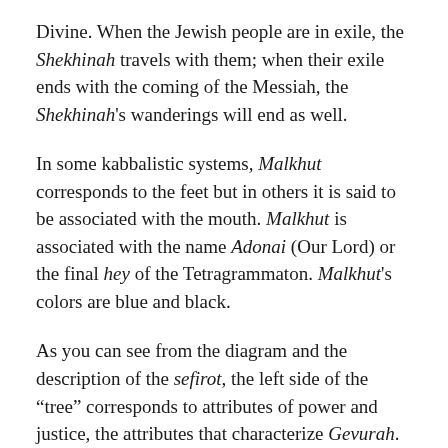Divine. When the Jewish people are in exile, the Shekhinah travels with them; when their exile ends with the coming of the Messiah, the Shekhinah's wanderings will end as well.
In some kabbalistic systems, Malkhut corresponds to the feet but in others it is said to be associated with the mouth. Malkhut is associated with the name Adonai (Our Lord) or the final hey of the Tetragrammaton. Malkhut's colors are blue and black.
As you can see from the diagram and the description of the sefirot, the left side of the “tree” corresponds to attributes of power and justice, the attributes that characterize Gevurah. This is seen by the kabbalists as the feminine side of God, representing the fear and awe of God, the principles of separation and distinction. By